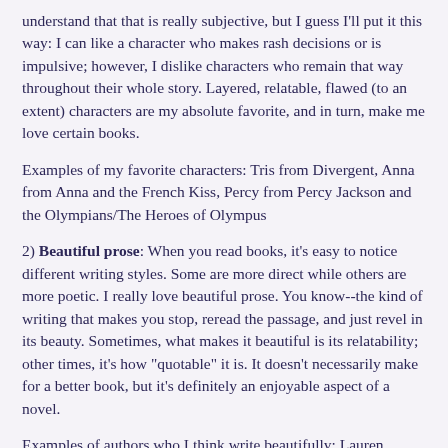understand that that is really subjective, but I guess I'll put it this way: I can like a character who makes rash decisions or is impulsive; however, I dislike characters who remain that way throughout their whole story. Layered, relatable, flawed (to an extent) characters are my absolute favorite, and in turn, make me love certain books.
Examples of my favorite characters: Tris from Divergent, Anna from Anna and the French Kiss, Percy from Percy Jackson and the Olympians/The Heroes of Olympus
2) Beautiful prose: When you read books, it's easy to notice different writing styles. Some are more direct while others are more poetic. I really love beautiful prose. You know--the kind of writing that makes you stop, reread the passage, and just revel in its beauty. Sometimes, what makes it beautiful is its relatability; other times, it's how "quotable" it is. It doesn't necessarily make for a better book, but it's definitely an enjoyable aspect of a novel.
Examples of authors who I think write beautifully: Lauren Oliver, F. Scott Fitzgerald, John Green